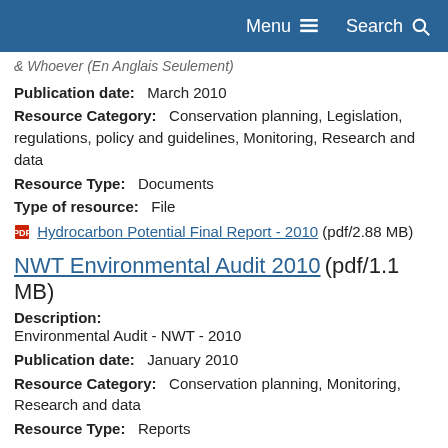Menu  Search
& Whoever (En Anglais Seulement)
Publication date:   March 2010
Resource Category:   Conservation planning, Legislation, regulations, policy and guidelines, Monitoring, Research and data
Resource Type:   Documents
Type of resource:   File
Hydrocarbon Potential Final Report - 2010 (pdf/2.88 MB)
NWT Environmental Audit 2010 (pdf/1.1 MB)
Description:
Environmental Audit - NWT - 2010
Publication date:   January 2010
Resource Category:   Conservation planning, Monitoring, Research and data
Resource Type:   Reports